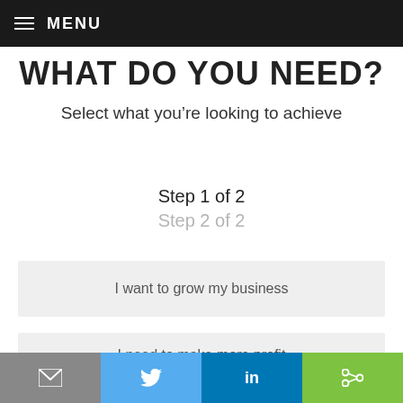MENU
WHAT DO YOU NEED?
Select what you’re looking to achieve
Step 1 of 2
Step 2 of 2
I want to grow my business
I need to make more profit
Email | Twitter | LinkedIn | Share